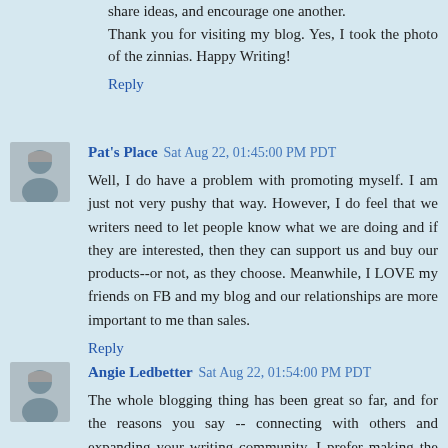share ideas, and encourage one another. Thank you for visiting my blog. Yes, I took the photo of the zinnias. Happy Writing!
Reply
Pat's Place  Sat Aug 22, 01:45:00 PM PDT
Well, I do have a problem with promoting myself. I am just not very pushy that way. However, I do feel that we writers need to let people know what we are doing and if they are interested, then they can support us and buy our products--or not, as they choose. Meanwhile, I LOVE my friends on FB and my blog and our relationships are more important to me than sales.
Reply
Angie Ledbetter  Sat Aug 22, 01:54:00 PM PDT
The whole blogging thing has been great so far, and for the reasons you say -- connecting with others and expanding your writing community. I prefer making the writing journey